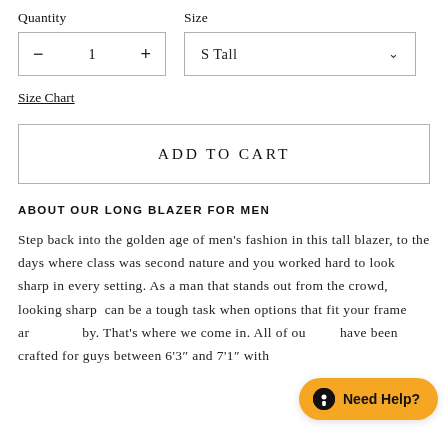Quantity
Size
− 1 +
S Tall
Size Chart
ADD TO CART
ABOUT OUR LONG BLAZER FOR MEN
Step back into the golden age of men's fashion in this tall blazer, to the days where class was second nature and you worked hard to look sharp in every setting. As a man that stands out from the crowd, looking sharp can be a tough task when options that fit your frame ar[e hard to come] by. That's where we come in. All of ou[r] have been crafted for guys between 6'3" and 7'1" with
Need Help?